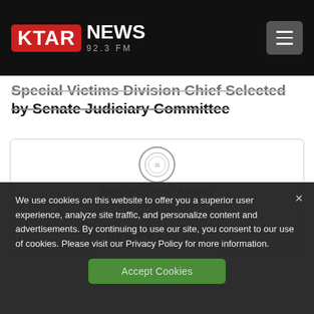KTAR NEWS 92.3 FM
Special Victims Division Chief Selected by Senate Judiciary Committee
[Figure (other): Maricopa County Attorney letterhead document showing the official seal, title 'Maricopa County Attorney', name 'Bill Montgomery', address information, and a 'NEWS RELEASE' header box]
We use cookies on this website to offer you a superior user experience, analyze site traffic, and personalize content and advertisements. By continuing to use our site, you consent to our use of cookies. Please visit our Privacy Policy for more information.
Accept Cookies